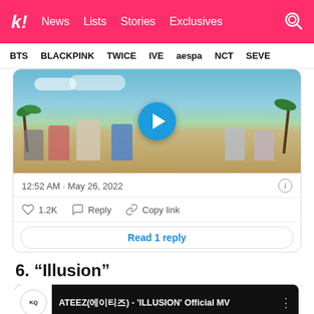k! News Lists Stories Exclusives
BTS BLACKPINK TWICE IVE aespa NCT SEVE
[Figure (screenshot): Tweet with video thumbnail showing BTS members on a beach with palm trees. Video has a blue play button overlay.]
12:52 AM · May 26, 2022
1.2K  Reply  Copy link
Read 1 reply
6. “Illusion”
[Figure (screenshot): YouTube video thumbnail for ATEEZ(에이티즈) - 'ILLUSION' Official MV with KQ Entertainment logo]